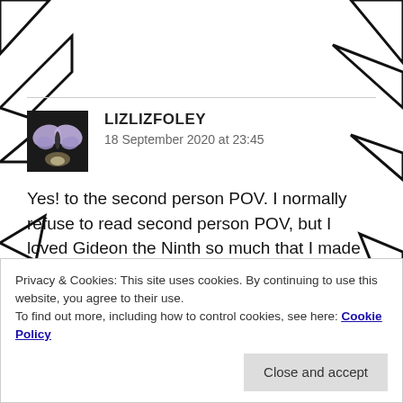[Figure (illustration): Background decorative pattern with black angular shapes on white background surrounding the content area]
LIZLIZFOLEY
18 September 2020 at 23:45
Yes! to the second person POV. I normally refuse to read second person POV, but I loved Gideon the Ninth so much that I made an exception for the sequel, and I'm so glad I did.
Privacy & Cookies: This site uses cookies. By continuing to use this website, you agree to their use.
To find out more, including how to control cookies, see here: Cookie Policy
Close and accept